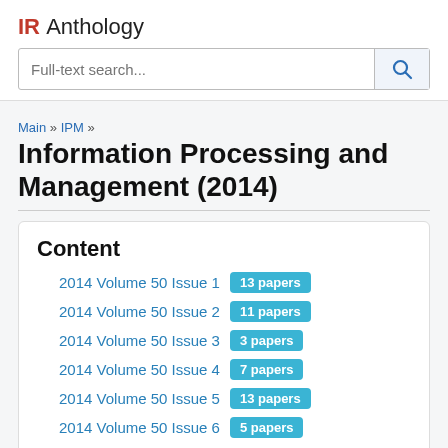IR Anthology
Full-text search...
Main » IPM »
Information Processing and Management (2014)
Content
2014 Volume 50 Issue 1  13 papers
2014 Volume 50 Issue 2  11 papers
2014 Volume 50 Issue 3  3 papers
2014 Volume 50 Issue 4  7 papers
2014 Volume 50 Issue 5  13 papers
2014 Volume 50 Issue 6  5 papers